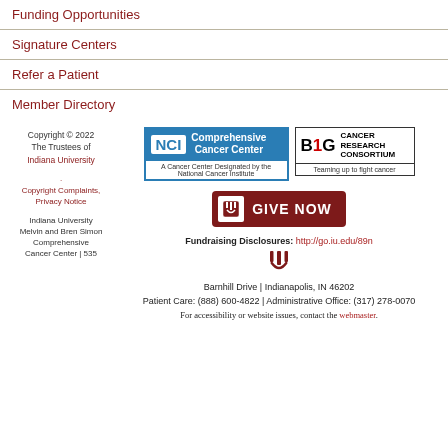Funding Opportunities
Signature Centers
Refer a Patient
Member Directory
[Figure (logo): NCI Comprehensive Cancer Center badge - A Cancer Center Designated by the National Cancer Institute]
[Figure (logo): B1G Cancer Research Consortium - Teaming up to fight cancer]
Copyright © 2022 The Trustees of Indiana University
Copyright Complaints, Privacy Notice
Indiana University Melvin and Bren Simon Comprehensive Cancer Center | 535
[Figure (logo): GIVE NOW button with Indiana University trident logo]
Fundraising Disclosures: http://go.iu.edu/89n
[Figure (logo): Indiana University trident logo]
Barnhill Drive | Indianapolis, IN 46202
Patient Care: (888) 600-4822 | Administrative Office: (317) 278-0070
For accessibility or website issues, contact the webmaster.